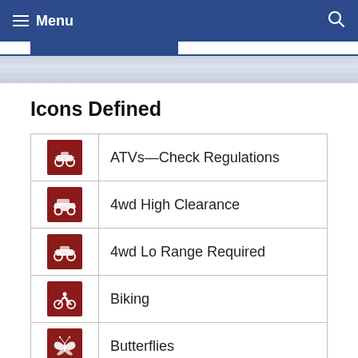Menu
Icons Defined
| Icon | Description |
| --- | --- |
| [ATV icon] | ATVs—Check Regulations |
| [4WD high icon] | 4wd High Clearance |
| [4WD lo icon] | 4wd Lo Range Required |
| [Biking icon] | Biking |
| [Butterfly icon] | Butterflies |